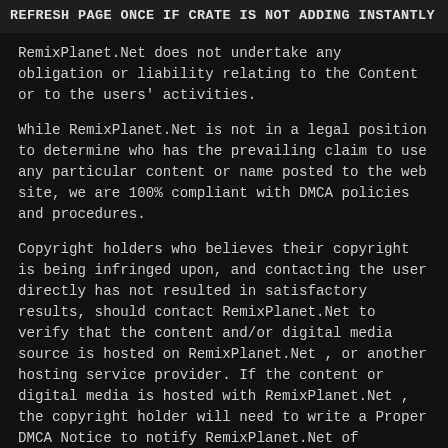REFRESH PAGE ONCE IF CRATE IS NOT ADDING INSTANTLY
RemixPlanet.Net does not undertake any obligation or liability relating to the Content or to the users' activities.
While RemixPlanet.Net is not in a legal position to determine who has the prevailing claim to use any particular content or name posted to the web site, we are 100% compliant with DMCA policies and procedures.
Copyright holders who believes their copyright is being infringed upon, and contacting the user directly has not resulted in satisfactory results, should contact RemixPlanet.Net to verify that the content and/or digital media source is hosted on RemixPlanet.Net , or another hosting service provider. If the content or digital media is hosted with RemixPlanet.Net , the copyright holder will need to write a Proper DMCA Notice to notify RemixPlanet.Net of particular facts in a document signed under penalty of perjury, and e-mail to dmca@RemixPlanet.Net.net. The Notice must provide the following information: